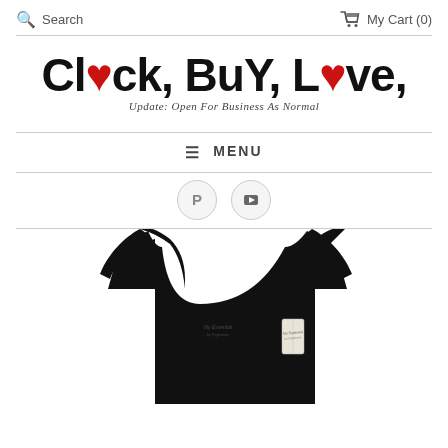Search  My Cart (0)
[Figure (logo): Click, Buy, Love logo with tagline 'Update: Open For Business As Normal']
≡ MENU
[Figure (illustration): Pinterest and YouTube social media icon buttons]
[Figure (photo): Black women's tank top / body shaper garment with tag, photographed on white background]